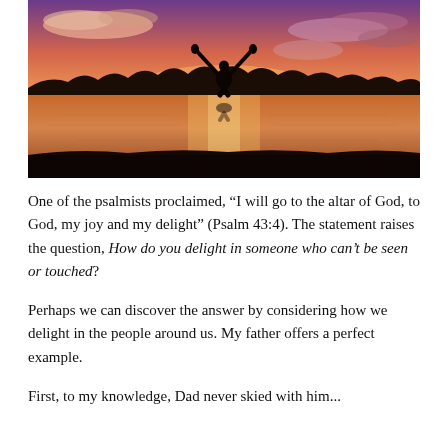[Figure (photo): A silhouette of a person with arms raised against a vivid orange and pink sunset sky reflected on a calm lake, with dark tree line in the background.]
One of the psalmists proclaimed, “I will go to the altar of God, to God, my joy and my delight” (Psalm 43:4). The statement raises the question, How do you delight in someone who can’t be seen or touched?
Perhaps we can discover the answer by considering how we delight in the people around us. My father offers a perfect example.
First, to my knowledge, Dad never skied with him...